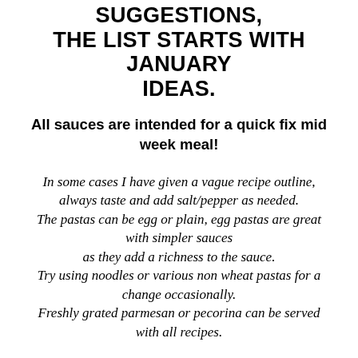SUGGESTIONS, THE LIST STARTS WITH JANUARY IDEAS.
All sauces are intended for a quick fix mid week meal!
In some cases I have given a vague recipe outline, always taste and add salt/pepper as needed. The pastas can be egg or plain, egg pastas are great with simpler sauces as they add a richness to the sauce. Try using noodles or various non wheat pastas for a change occasionally. Freshly grated parmesan or pecorina can be served with all recipes.